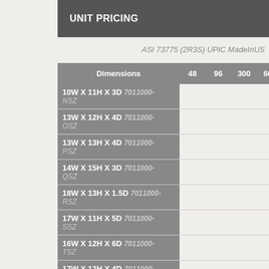UNIT PRICING
ASI 73775 (2R3S) UPIC MadeInUS
| Dimensions | 48 | 96 | 300 | 600 | 1200 |
| --- | --- | --- | --- | --- | --- |
| 10W X 11H X 3D  7011000-NSZ |  |  |  |  |  |
| 13W X 12H X 4D  7011000-OSZ |  |  |  |  |  |
| 13W X 13H X 4D  7011000-PSZ |  |  |  |  |  |
| 14W X 15H X 3D  7011000-QSZ |  |  |  |  |  |
| 18W X 13H X 1.5D  7011000-RSZ |  |  |  |  |  |
| 17W X 11H X 5D  7011000-SSZ |  |  |  |  |  |
| 16W X 12H X 6D  7011000-TSZ |  |  |  |  |  |
| 17W X 12H X 4D  7011000-... |  |  |  |  |  |